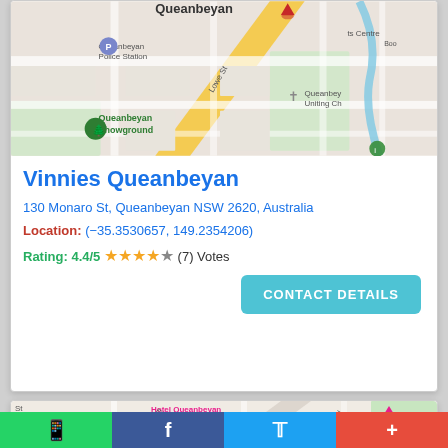[Figure (map): Google Maps showing Queanbeyan area with Queanbeyan Police Station, Queanbeyan Showground, Queanbeyan Uniting Church, and Lowe St visible. A red location pin marker is shown.]
Vinnies Queanbeyan
130 Monaro St, Queanbeyan NSW 2620, Australia
Location: (−35.3530657, 149.2354206)
Rating: 4.4/5 ★★★★☆ (7) Votes
CONTACT DETAILS
[Figure (map): Google Maps showing Hotel Queanbeyan area with Queanbeyan West Public School, Kinkora Pl, Campbell St visible. A pink location pin and orange H marker shown.]